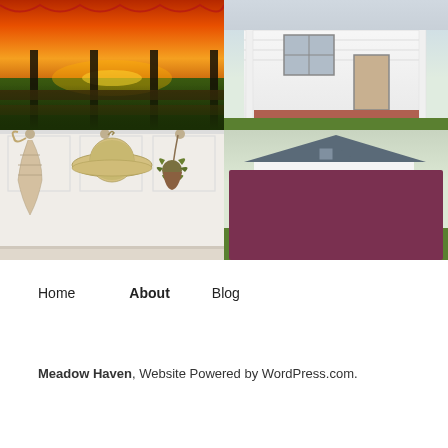[Figure (photo): Sunset view from a porch with orange and red sky over green lawn]
[Figure (photo): White farmhouse front porch with patriotic bunting decorations and brick steps]
[Figure (photo): Gallery wall with framed paintings on gray floral wallpaper]
[Figure (photo): White farmhouse exterior with green lawn and clipboard sign reading Day 266 Final Inspection 6/2/2022]
[Figure (photo): White wall hooks with macrame bag, straw hats and hanging plant]
Home
About
Blog
Meadow Haven, Website Powered by WordPress.com.